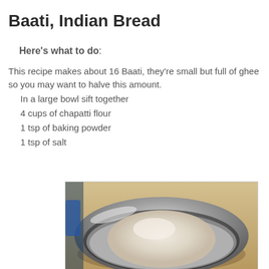Baati, Indian Bread
Here's what to do:
This recipe makes about 16 Baati, they're small but full of ghee so you may want to halve this amount.
In a large bowl sift together
4 cups of chapatti flour
1 tsp of baking powder
1 tsp of salt
[Figure (photo): A stainless steel mixing bowl filled with flour (chapatti flour) sifted into a mound, placed on a wooden surface.]